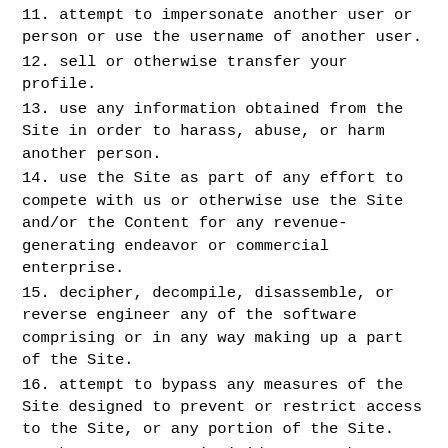11. attempt to impersonate another user or person or use the username of another user.
12. sell or otherwise transfer your profile.
13. use any information obtained from the Site in order to harass, abuse, or harm another person.
14. use the Site as part of any effort to compete with us or otherwise use the Site and/or the Content for any revenue-generating endeavor or commercial enterprise.
15. decipher, decompile, disassemble, or reverse engineer any of the software comprising or in any way making up a part of the Site.
16. attempt to bypass any measures of the Site designed to prevent or restrict access to the Site, or any portion of the Site.
17. harass, annoy, intimidate, or threaten any of our employees or agents engaged in providing any portion of the Site to you.
18. delete the copyright or other proprietary rights notice from any Content.
19. copy or adapt the Site's software, including but not limited to Flash, PHP, HTML, JavaScript, or other code.
20. upload or transmit (or attempt to upload or to transmit) viruses, Trojan horses, or other material, including excessive use